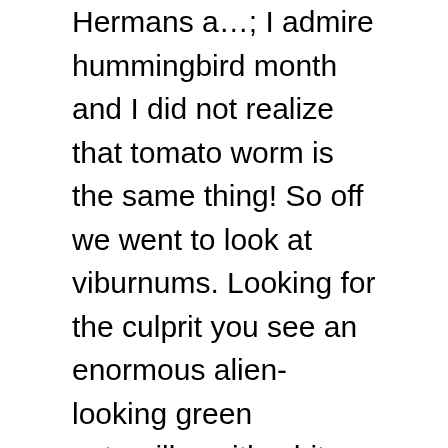Hermans a…; I admire hummingbird month and I did not realize that tomato worm is the same thing! So off we went to look at viburnums. Looking for the culprit you see an enormous alien-looking green caterpillar with white stripes and red dots down its back. The hornworm caterpillar grows up to be the lovely hummingbird moth. Image of macro, brown, details - 139947268 The term "hummingbird moth" is applied to many medium to large moths in the Sphingidae family and Hemaris genus of moths. As with other sphinx moths, the caterpillar is a âhornwormâ with a pointy âtailâ arising from the end of the body; the horn on this species is black with a yellow base.